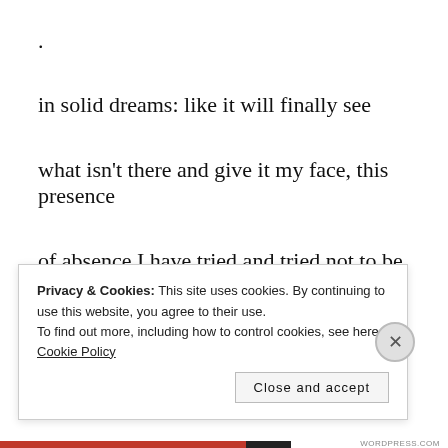.
in solid dreams: like it will finally see
what isn’t there and give it my face, this presence
of absence I have tried and tried not to be
**********
Privacy & Cookies: This site uses cookies. By continuing to use this website, you agree to their use.
To find out more, including how to control cookies, see here: Cookie Policy
Close and accept